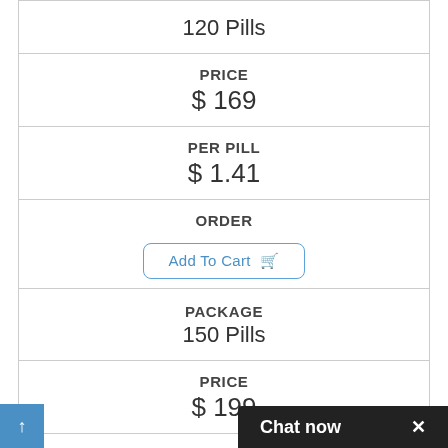| 120 Pills |
| PRICE
$ 169 |
| PER PILL
$ 1.41 |
| ORDER
Add To Cart |
| PACKAGE
150 Pills |
| PRICE
$ 199 |
Chat now ×
↑